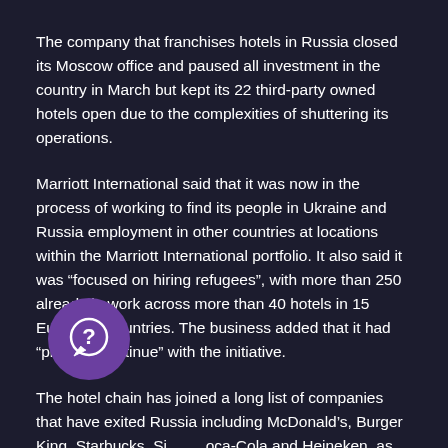The company that franchises hotels in Russia closed its Moscow office and paused all investment in the country in March but kept its 22 third-party owned hotels open due to the complexities of shuttering its operations.
Marriott International said that it was now in the process of working to find its people in Ukraine and Russia employment in other countries at locations within the Marriott International portfolio. It also said it was “focused on hiring refugees”, with more than 250 already in work across more than 40 hotels in 15 European countries. The business added that it had “plans to continue” with the initiative.
The hotel chain has joined a long list of companies that have exited Russia including McDonald’s, Burger King, Starbucks, Siemens, Coca-Cola and Heineken, as global businesses continued to oppose the war in Ukraine. The conflict in the country has now stretched into its fourth month.
[Figure (other): Purple circular chat/help icon with a question mark speech bubble symbol, partially overlapping the third paragraph text.]